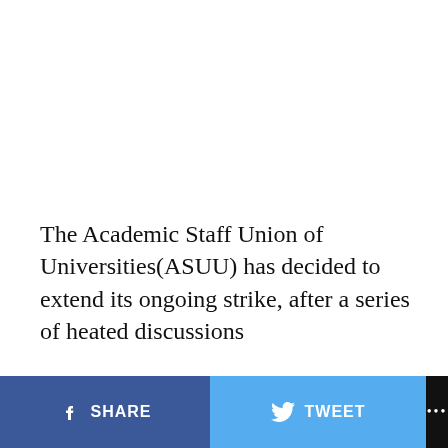The Academic Staff Union of Universities(ASUU) has decided to extend its ongoing strike, after a series of heated discussions
SHARE | TWEET | ...